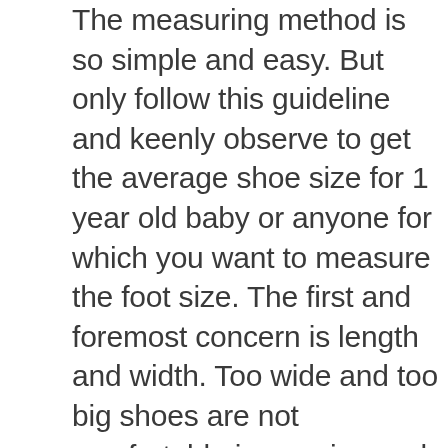The measuring method is so simple and easy. But only follow this guideline and keenly observe to get the average shoe size for 1 year old baby or anyone for which you want to measure the foot size. The first and foremost concern is length and width. Too wide and too big shoes are not comfortable in wearing and also on walking, so make sure you had to go through above link how to choose the best climbing shoes for beginners, like for cubby feet, etc.
So, start measuring the length from heel to longest toe and width from the